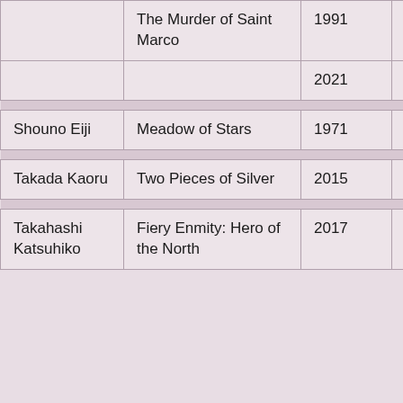| Author | Title | Year | Category |
| --- | --- | --- | --- |
|  | The Murder of Saint Marco | 1991 | Flower |
|  |  | 2021 | Snow |
| Shouno Eiji | Meadow of Stars | 1971 | Star |
| Takada Kaoru | Two Pieces of Silver | 2015 | Snow |
| Takahashi Katsuhiko | Fiery Enmity: Hero of the North | 2017 | Star |